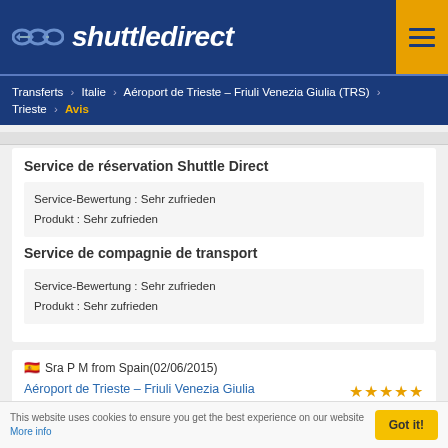shuttledirect
Transferts > Italie > Aéroport de Trieste – Friuli Venezia Giulia (TRS) > Trieste > Avis
Service de réservation Shuttle Direct
Service-Bewertung : Sehr zufrieden
Produkt : Sehr zufrieden
Service de compagnie de transport
Service-Bewertung : Sehr zufrieden
Produkt : Sehr zufrieden
Sra P M from Spain(02/06/2015)
Aéroport de Trieste – Friuli Venezia Giulia (TRS) - Trieste(Economy)
Service de réservation Shuttle Direct
This website uses cookies to ensure you get the best experience on our website More info Got it!